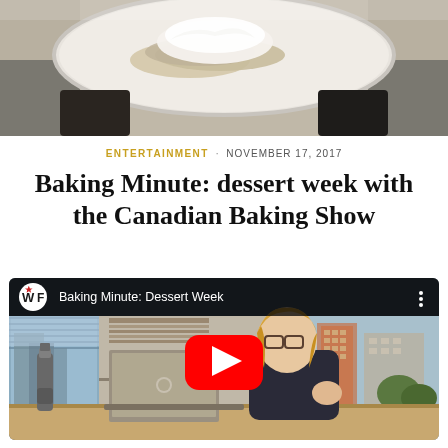[Figure (photo): Top portion of a photo showing a white plate with food (crepes or pastry with white cream) being held by someone in dark clothing]
ENTERTAINMENT · NOVEMBER 17, 2017
Baking Minute: dessert week with the Canadian Baking Show
[Figure (screenshot): YouTube video thumbnail showing 'Baking Minute: Dessert Week' with a WF logo, a woman sitting at a desk with a laptop and water bottle in an office with city view windows, YouTube red play button overlay]